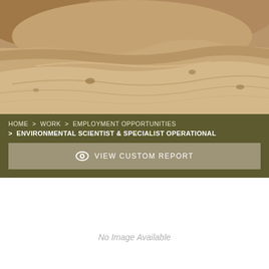[Figure (photo): Aerial or ground-level photo of sandy/earthy dirt mounds and terrain with tracks, shown in sepia/warm tones]
HOME  >  WORK  >  EMPLOYMENT OPPORTUNITIES
 >  ENVIRONMENTAL SCIENTIST & SPECIALIST OPERATIONAL
VIEW CUSTOM REPORT
No Image Available